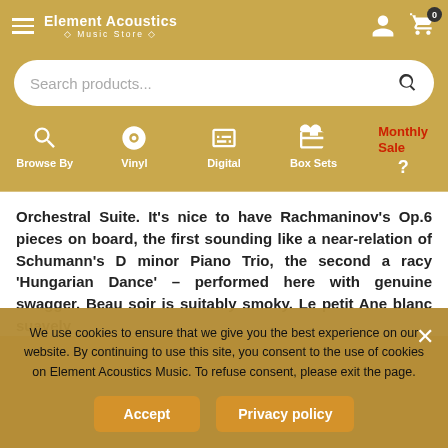Element Acoustics Music Store
Search products...
Browse By | Vinyl | Digital | Box Sets | Monthly Sale
Orchestral Suite. It's nice to have Rachmaninov's Op.6 pieces on board, the first sounding like a near-relation of Schumann's D minor Piano Trio, the second a racy 'Hungarian Dance' – performed here with genuine swagger. Beau soir is suitably smoky. Le petit Ane blanc suavely
We use cookies to ensure that we give you the best experience on our website. By continuing to use this site, you consent to the use of cookies on Element Acoustics Music. To refuse consent, please exit the page.